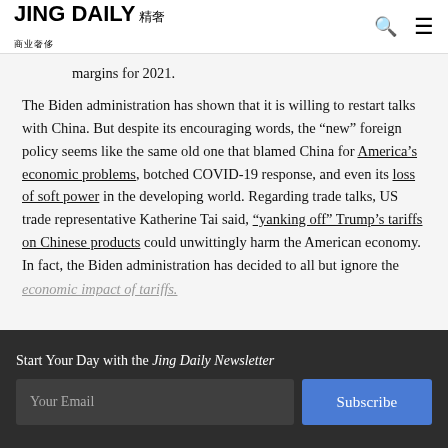JING DAILY 精奢
margins for 2021.
The Biden administration has shown that it is willing to restart talks with China. But despite its encouraging words, the “new” foreign policy seems like the same old one that blamed China for America’s economic problems, botched COVID-19 response, and even its loss of soft power in the developing world. Regarding trade talks, US trade representative Katherine Tai said, “yanking off” Trump’s tariffs on Chinese products could unwittingly harm the American economy. In fact, the Biden administration has decided to all but ignore the economic impact of tariffs.
Start Your Day with the Jing Daily Newsletter